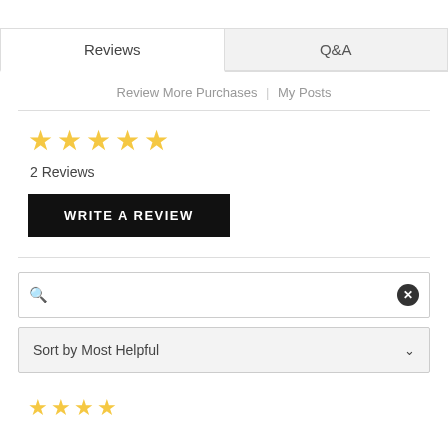Reviews
Q&A
Review More Purchases | My Posts
★★★★★ (5 stars)
2 Reviews
WRITE A REVIEW
Sort by Most Helpful
★★★★ (4 stars, bottom)